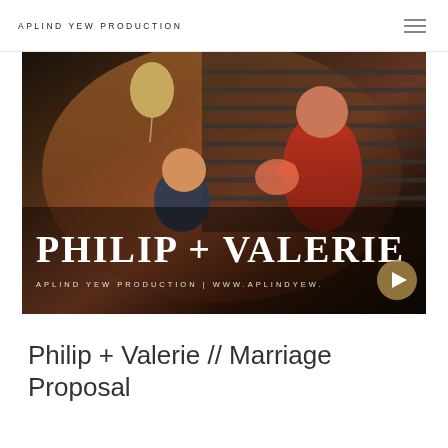APLIND YEW PRODUCTION
[Figure (photo): A marriage proposal scene: a man kneeling on one knee presenting a ring box to a woman in a red off-shoulder top holding flowers, with gold balloons and window blinds in background. Text overlay reads 'PHILIP + VALERIE' and 'APLIND YEW PRODUCTION | WWW.APLINDYEW.' with a play button.]
Philip + Valerie // Marriage Proposal